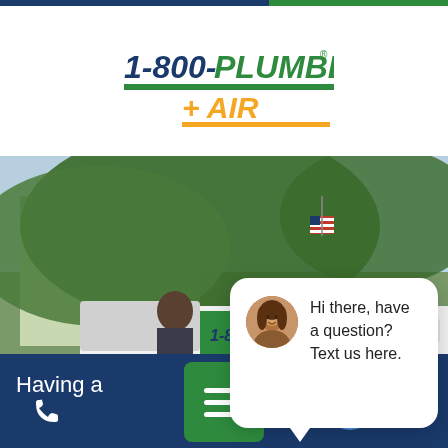[Figure (logo): 1-800-PLUMBER + AIR logo with blue and green text and yellow AIR text with green underline]
[Figure (photo): Street scene with trees, a 1-800-Plumber branded van, and a house in the background]
close
The Name
AC REPA
[Figure (other): Chat bubble with avatar photo of a woman saying Hi there, have a question? Text us here.]
Hi there, have a question? Text us here.
Having a